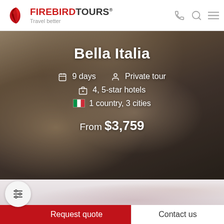[Figure (logo): Firebird Tours logo with red bird icon, FIREBIRDTOURS® text and Travel better tagline, plus phone, search, and menu icons]
[Figure (photo): Hero banner photo of couple at Trevi Fountain Rome, overlaid with tour details: Bella Italia, 9 days, Private tour, 4 5-star hotels, 1 country 3 cities, From $3,759]
[Figure (photo): Partially visible second tour card with blurred background image]
Request quote
Contact us